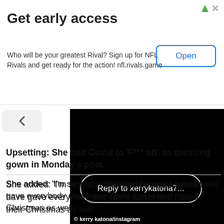Get early access — Who will be your greatest Rival? Sign up for NFL Rivals and get ready for the action! nfl.rivals.game — Open
[Figure (screenshot): Instagram screenshot showing a dark/black background with a rounded reply bubble reading 'Reply to kerrykatona7...' and a copyright watermark '© kerry katona/instagram' at the bottom left.]
Upsetting: She told Covid to 'F*** off' as dressing gown in Monday's post.
She added: 'I'm so glad I didn't go because I would have gave everybody else there Covid and ruined their Christmas as well.'